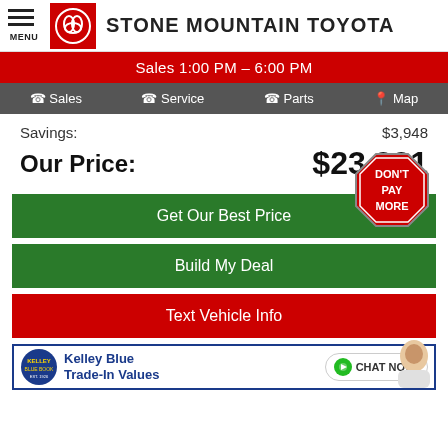STONE MOUNTAIN TOYOTA
Sales 1:00 PM – 6:00 PM
Sales | Service | Parts | Map
Savings: $3,948
Our Price: $23,221
[Figure (other): Red octagon stop-sign badge with text DON'T PAY MORE]
Get Our Best Price
Build My Deal
Text Vehicle Info
Kelley Blue Trade-In Values
CHAT NOW!